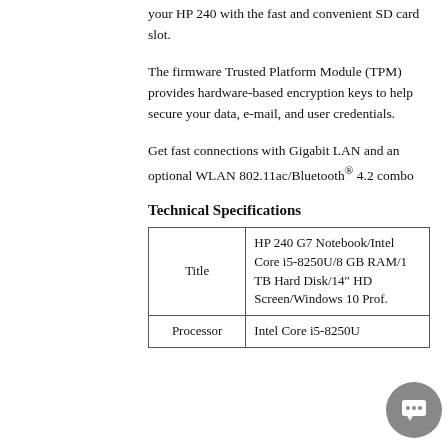your HP 240 with the fast and convenient SD card slot.
The firmware Trusted Platform Module (TPM) provides hardware-based encryption keys to help secure your data, e-mail, and user credentials.
Get fast connections with Gigabit LAN and an optional WLAN 802.11ac/Bluetooth® 4.2 combo
Technical Specifications
| Title | HP 240 G7 Notebook/Intel Core i5-8250U/8 GB RAM/1 TB Hard Disk/14" HD Screen/Windows 10 Prof. |
| Processor | Intel Core i5-8250U |